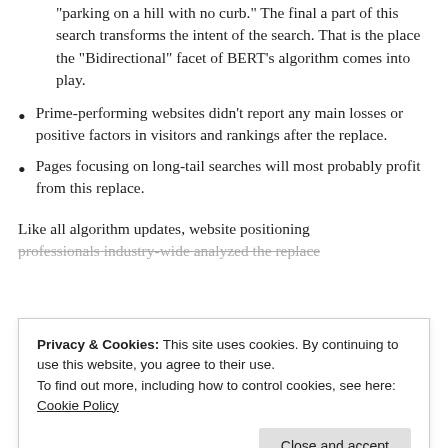"parking on a hill with no curb." The final a part of this search transforms the intent of the search. That is the place the "Bidirectional" facet of BERT's algorithm comes into play.
Prime-performing websites didn't report any main losses or positive factors in visitors and rankings after the replace.
Pages focusing on long-tail searches will most probably profit from this replace.
Like all algorithm updates, website positioning professionals industry-wide analyzed the replace
Privacy & Cookies: This site uses cookies. By continuing to use this website, you agree to their use.
To find out more, including how to control cookies, see here: Cookie Policy
together with associated key phrases, LSI key phrases